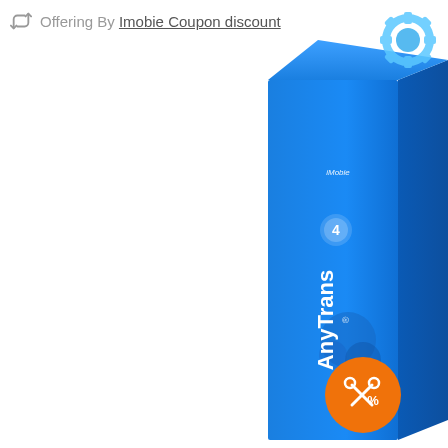Offering By Imobie Coupon discount
[Figure (photo): A blue product box for AnyTrans by iMobie, partially visible on the right side of the image. The box has a bright blue color with gear/cog decorative elements at the top. The product name 'AnyTrans' is written vertically on the spine along with the iMobie logo. An orange circular badge with a scissors/percent icon is visible near the bottom of the box.]